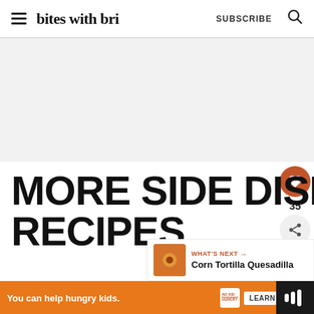bites with bri   SUBSCRIBE
[Figure (other): Light grey placeholder advertisement area]
MORE SIDE DISH RECIPES
[Figure (infographic): Heart/like button (brown circle with heart icon), count 35, and share button (grey circle with share icon)]
[Figure (infographic): WHAT'S NEXT arrow label with thumbnail image and text: Corn Tortilla Quesadilla]
[Figure (infographic): Bottom orange ad banner: You can help hungry kids. No Kid Hungry logo. LEARN HOW button. Close X. Dark logo on right.]